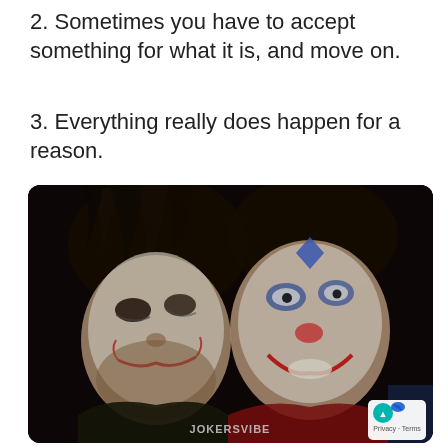2. Sometimes you have to accept something for what it is, and move on.
3. Everything really does happen for a reason.
[Figure (photo): Photo of two Joker characters side by side — Heath Ledger's Joker on the left and Joaquin Phoenix's Joker on the right, both in full makeup. Watermark 'JOKERSVIBE' at bottom center. Privacy/Terms badge at bottom right.]